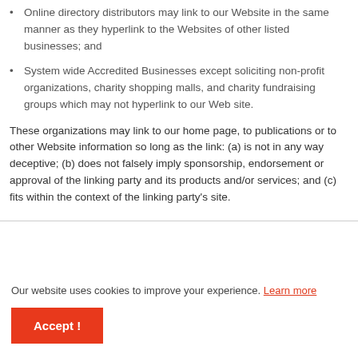Online directory distributors may link to our Website in the same manner as they hyperlink to the Websites of other listed businesses; and
System wide Accredited Businesses except soliciting non-profit organizations, charity shopping malls, and charity fundraising groups which may not hyperlink to our Web site.
These organizations may link to our home page, to publications or to other Website information so long as the link: (a) is not in any way deceptive; (b) does not falsely imply sponsorship, endorsement or approval of the linking party and its products and/or services; and (c) fits within the context of the linking party's site.
Our website uses cookies to improve your experience. Learn more
Accept !